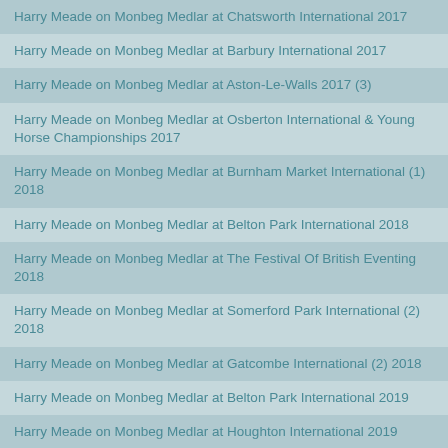Harry Meade on Monbeg Medlar at Chatsworth International 2017
Harry Meade on Monbeg Medlar at Barbury International 2017
Harry Meade on Monbeg Medlar at Aston-Le-Walls 2017 (3)
Harry Meade on Monbeg Medlar at Osberton International & Young Horse Championships 2017
Harry Meade on Monbeg Medlar at Burnham Market International (1) 2018
Harry Meade on Monbeg Medlar at Belton Park International 2018
Harry Meade on Monbeg Medlar at The Festival Of British Eventing 2018
Harry Meade on Monbeg Medlar at Somerford Park International (2) 2018
Harry Meade on Monbeg Medlar at Gatcombe International (2) 2018
Harry Meade on Monbeg Medlar at Belton Park International 2019
Harry Meade on Monbeg Medlar at Houghton International 2019